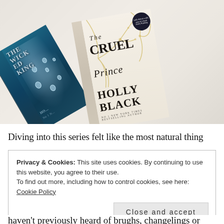[Figure (photo): Photo of two books lying on a white fabric surface. On the left is 'The Wicked King' with a teal/blue cover showing water droplets. On the right is 'The Cruel Prince' by Holly Black with a white cover featuring golden branch designs. The Cruel Prince cover shows title text and author name prominently.]
Diving into this series felt like the most natural thing
Privacy & Cookies: This site uses cookies. By continuing to use this website, you agree to their use.
To find out more, including how to control cookies, see here:
Cookie Policy
Close and accept
haven't previously heard of brughs, changelings or